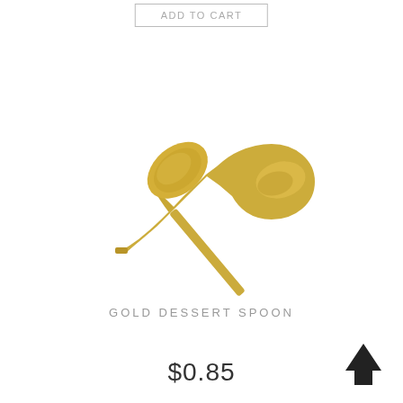ADD TO CART
[Figure (photo): A gold dessert spoon photographed diagonally on a white background, handle pointing lower-left, bowl pointing upper-right.]
GOLD DESSERT SPOON
$0.85
[Figure (other): Black upward-pointing arrow icon]